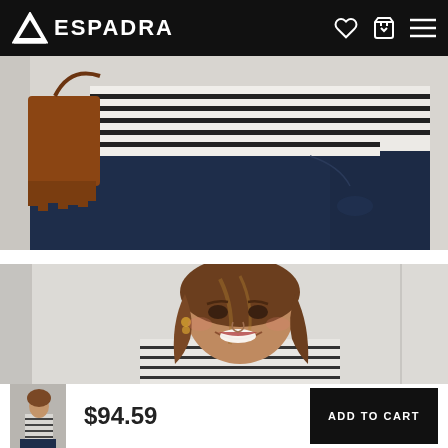ESPADRA
[Figure (photo): Close-up of a woman wearing a black and white striped top and dark blue jeans, holding a brown fringe bag]
[Figure (photo): Portrait of a smiling woman with long brown hair wearing a striped top]
[Figure (photo): Small thumbnail of the product - woman in striped top]
$94.59
ADD TO CART